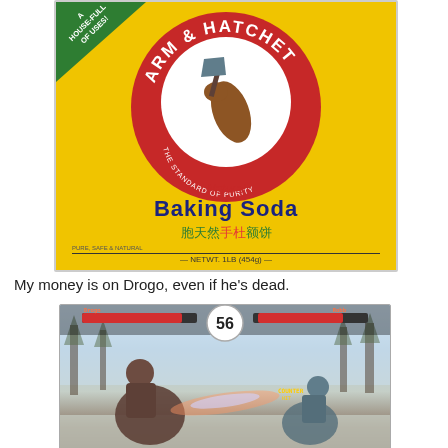[Figure (photo): Photo of a yellow box of 'ARM & HATCHET Natural Baking Soda' with red circle logo showing an arm holding a hatchet, text 'THE STANDARD OF PURITY', green corner banner reading 'A HOUSE-FULL OF USES!', Chinese characters, and 'NETWT. 1LB (454g)']
My money is on Drogo, even if he's dead.
[Figure (screenshot): Screenshot of a fighting video game showing two characters (Drogo on left, another character on right) in combat in a snowy forest setting, with health bars at top, timer showing 56, and 'COUNTER' text visible]